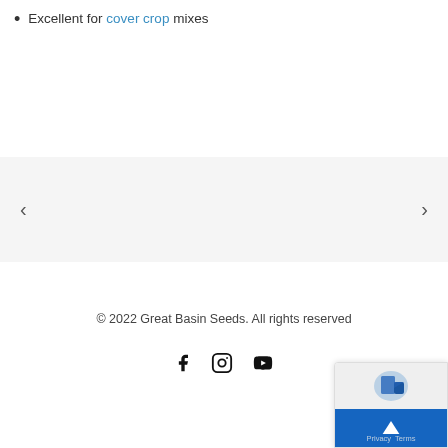Excellent for cover crop mixes
[Figure (other): Carousel navigation section with left and right arrow buttons on a light gray background]
© 2022 Great Basin Seeds. All rights reserved
[Figure (other): Social media icons: Facebook, Instagram, YouTube]
[Figure (other): GDPR consent popup widget with back-to-top button, showing Privacy and Terms links]